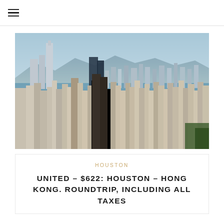≡
[Figure (photo): Aerial view of Hong Kong skyline with dense skyscrapers in the foreground, Victoria Harbour in the middle, and mountains in the background under a hazy blue sky.]
HOUSTON
UNITED – $622: HOUSTON – HONG KONG. ROUNDTRIP, INCLUDING ALL TAXES